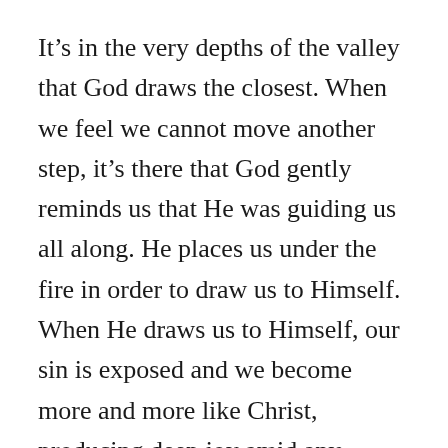It's in the very depths of the valley that God draws the closest. When we feel we cannot move another step, it's there that God gently reminds us that He was guiding us all along. He places us under the fire in order to draw us to Himself. When He draws us to Himself, our sin is exposed and we become more and more like Christ, producing deep joy amid any circumstance.
No one desires to be broken. But brokenness is the only way one knows what it is like to be mended.